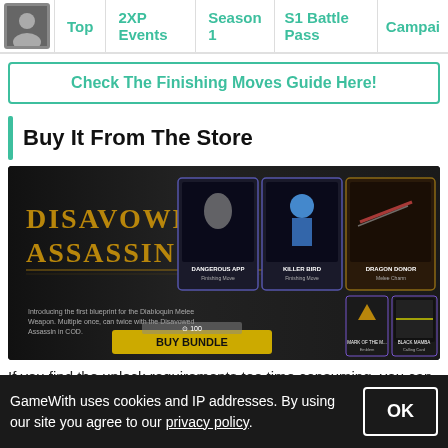Top | 2XP Events | Season 1 | S1 Battle Pass | Campai
Check The Finishing Moves Guide Here!
Buy It From The Store
[Figure (screenshot): Disavowed Assassin bundle store page from a game, showing the bundle name in stylized text and several items: Dragon Donor (Melee Charm), Killer Bird (Finishing Move), Dangerous App (Finishing Move), Mark of the M... (Emblem), Black Mamba (Calling Card), with a BUY BUNDLE button and price.]
If you find the unlock requirements too time consuming, you can
GameWith uses cookies and IP addresses. By using our site you agree to our privacy policy.